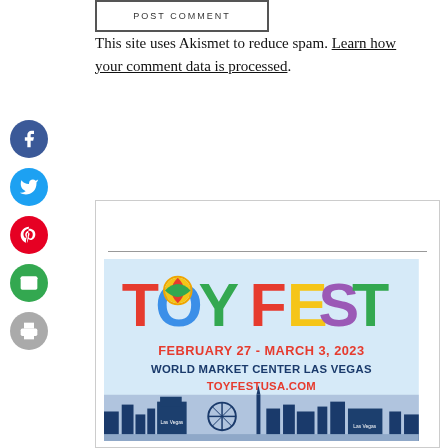[Figure (other): POST COMMENT button, rectangular with border]
This site uses Akismet to reduce spam. Learn how your comment data is processed.
[Figure (other): Facebook share button (blue circle with f icon)]
[Figure (other): Twitter share button (blue circle with bird icon)]
[Figure (other): Pinterest share button (red circle with P icon)]
[Figure (other): Email share button (green circle with envelope icon)]
[Figure (other): Print button (gray circle with printer icon)]
[Figure (other): ToyFest advertisement banner: TOYFEST FEBRUARY 27 - MARCH 3, 2023 WORLD MARKET CENTER LAS VEGAS TOYFESTUSA.COM with Las Vegas skyline illustration]